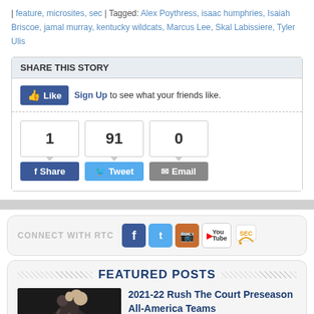| feature, microsites, sec | Tagged: Alex Poythress, isaac humphries, Isaiah Briscoe, jamal murray, kentucky wildcats, Marcus Lee, Skal Labissiere, Tyler Ulis
SHARE THIS STORY
[Figure (screenshot): Facebook Like button with 'Sign Up to see what your friends like.' text]
[Figure (screenshot): Social share buttons: Share (1), Tweet (91), Email (0)]
[Figure (infographic): CONNECT WITH RTC social media icons: Facebook, Twitter, Instagram, YouTube, SEC RSS]
FEATURED POSTS
[Figure (photo): Basketball player photo in dark setting]
2021-22 Rush The Court Preseason All-America Teams